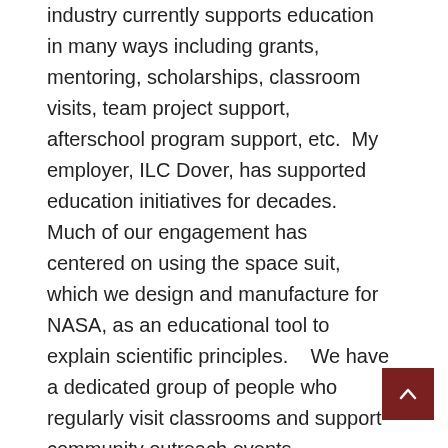industry currently supports education in many ways including grants, mentoring, scholarships, classroom visits, team project support, afterschool program support, etc.  My employer, ILC Dover, has supported education initiatives for decades.  Much of our engagement has centered on using the space suit, which we design and manufacture for NASA, as an educational tool to explain scientific principles.   We have a dedicated group of people who regularly visit classrooms and support community outreach events.  Everyone we visit loves to see the space suit and hear stories about space exploration, so, for those audiences, it makes STEM learning interesting.  However, as a leader in industry in Delaware, we are always looking for better ways to support STEM education and strengthen our future workforce.